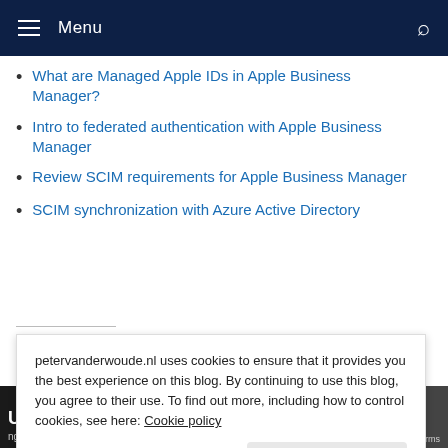Menu
What are Managed Apple IDs in Apple Business Manager?
Intro to federated authentication with Apple Business Manager
Review SCIM requirements for Apple Business Manager
SCIM synchronization with Azure Active Directory
Share this:
petervanderwoude.nl uses cookies to ensure that it provides you the best experience on this blog. By continuing to use this blog, you agree to their use. To find out more, including how to control cookies, see here: Cookie policy
Close and accept
[Figure (screenshot): Bottom strip showing 'User Enrolment' text and a dark image strip with 'Privacy - Terms' label]